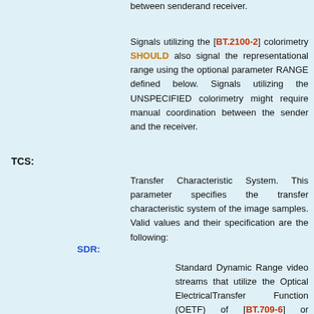between senderand receiver.
Signals utilizing the [BT.2100-2] colorimetry SHOULD also signal the representational range using the optional parameter RANGE defined below. Signals utilizing the UNSPECIFIED colorimetry might require manual coordination between the sender and the receiver.
TCS:
Transfer Characteristic System. This parameter specifies the transfer characteristic system of the image samples. Valid values and their specification are the following:
SDR:
Standard Dynamic Range video streams that utilize the Optical ElectricalTransfer Function (OETF) of [BT.709-6] or [BT.2020-2].Such streams SHALL be assumed to target the Electro-Optical